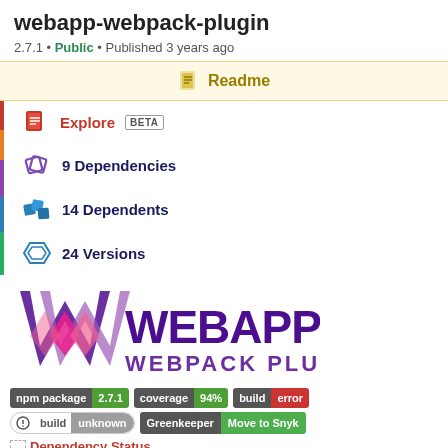webapp-webpack-plugin
2.7.1 • Public • Published 3 years ago
Readme
Explore BETA
9 Dependencies
14 Dependents
24 Versions
[Figure (logo): WEBAPP WEBPACK PLUGIN logo with stylized W letterform in purple and pink]
[Figure (infographic): npm badges: npm package 2.7.1, coverage 94%, build error, build unknown, Greenkeeper Move to Snyk]
Dependency Status